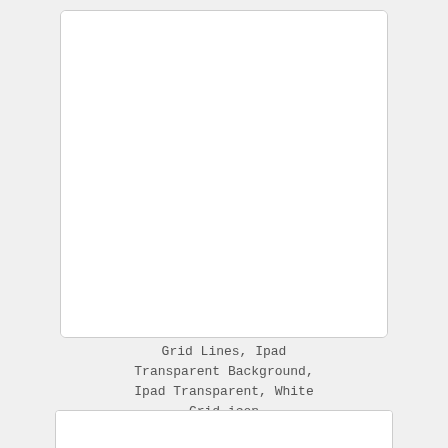[Figure (illustration): Large white square box with light gray border, blank/empty content area]
Grid Lines, Ipad Transparent Background, Ipad Transparent, White Grid icon
[Figure (illustration): Smaller white rectangular box with light gray border, blank/empty content area]